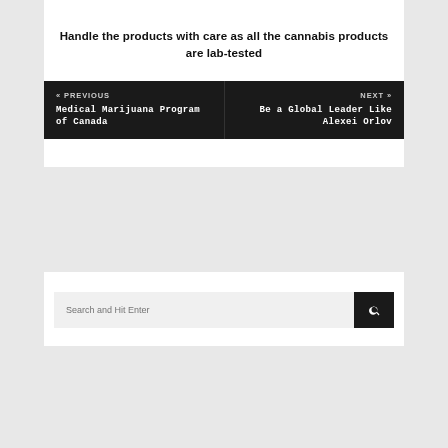Handle the products with care as all the cannabis products are lab-tested
« PREVIOUS Medical Marijuana Program of Canada | NEXT » Be a Global Leader Like Alexei Orlov